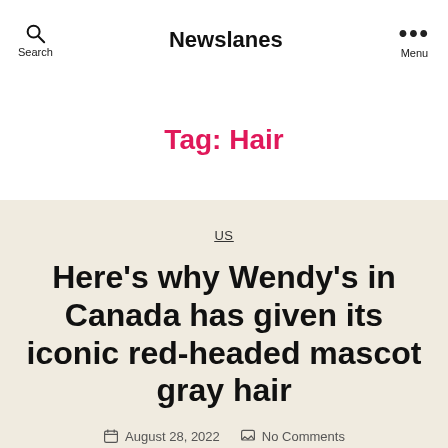Search | Newslanes | Menu
Tag: Hair
US
Here's why Wendy's in Canada has given its iconic red-headed mascot gray hair
August 28, 2022  No Comments